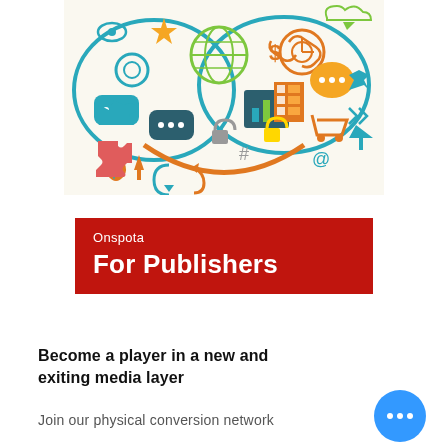[Figure (illustration): Colorful digital media and technology icons illustration showing clouds, gears, arrows, social media symbols, shopping cart, and various internet/tech icons in teal, orange, green, red, and yellow colors]
Onspota
For Publishers
Become a player in a new and exiting media layer
Join our physical conversion network